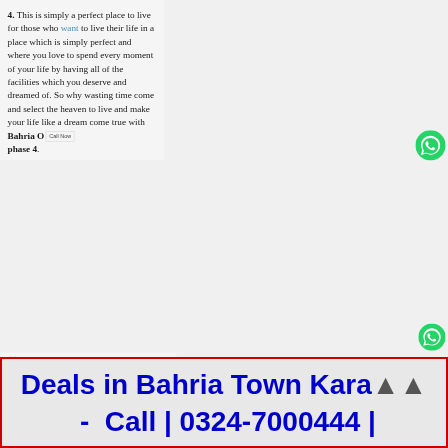4. This is simply a perfect place to live for those who want to live their life in a place which is simply perfect and where you love to spend every moment of your life by having all of the facilities which you deserve and dreamed of. So why wasting time come and select the heaven to live and make your life like a dream come true with Bahria Orchard phase 4.
[Figure (other): Green WhatsApp phone icon button with Call Now label]
[Figure (other): Green WhatsApp phone icon]
Posted in Bahria Orchard Lahore
Deals in Bahria Town Karachi - Call | 0324-7000444 |